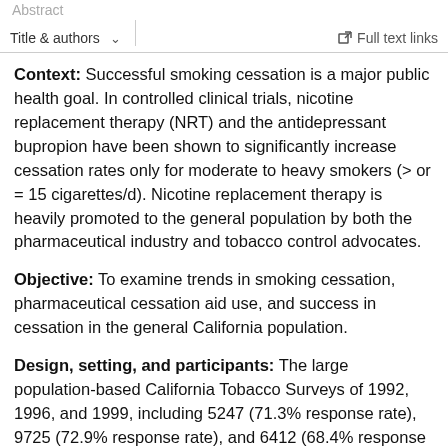Abstract | Title & authors ∨ | Full text links
Context: Successful smoking cessation is a major public health goal. In controlled clinical trials, nicotine replacement therapy (NRT) and the antidepressant bupropion have been shown to significantly increase cessation rates only for moderate to heavy smokers (> or = 15 cigarettes/d). Nicotine replacement therapy is heavily promoted to the general population by both the pharmaceutical industry and tobacco control advocates.
Objective: To examine trends in smoking cessation, pharmaceutical cessation aid use, and success in cessation in the general California population.
Design, setting, and participants: The large population-based California Tobacco Surveys of 1992, 1996, and 1999, including 5247 (71.3% response rate), 9725 (72.9% response rate), and 6412 (68.4% response rate) respondents, respectively.